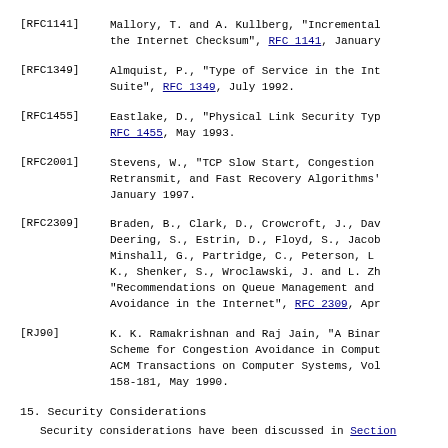[RFC1141]   Mallory, T. and A. Kullberg, "Incremental Updating of the Internet Checksum", RFC 1141, January 1990.
[RFC1349]   Almquist, P., "Type of Service in the Internet Protocol Suite", RFC 1349, July 1992.
[RFC1455]   Eastlake, D., "Physical Link Security Type of Service", RFC 1455, May 1993.
[RFC2001]   Stevens, W., "TCP Slow Start, Congestion Avoidance, Fast Retransmit, and Fast Recovery Algorithms", RFC 2001, January 1997.
[RFC2309]   Braden, B., Clark, D., Crowcroft, J., Davie, B., Deering, S., Estrin, D., Floyd, S., Jacobson, V., Minshall, G., Partridge, C., Peterson, L., Ramakrishnan, K., Shenker, S., Wroclawski, J. and L. Zhang, "Recommendations on Queue Management and Congestion Avoidance in the Internet", RFC 2309, April 1998.
[RJ90]      K. K. Ramakrishnan and Raj Jain, "A Binary Feedback Scheme for Congestion Avoidance in Computer Networks", ACM Transactions on Computer Systems, Vol. 8, No. 2, pp. 158-181, May 1990.
15. Security Considerations
Security considerations have been discussed in Section